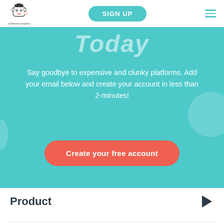[Figure (logo): Cow mascot logo with 'a Sitecore company' text below]
SIGN UP
Today
Say goodbye to expensive and clunky platforms. Add your email below and create your account in less than 2-minutes!
Create your free account
Product